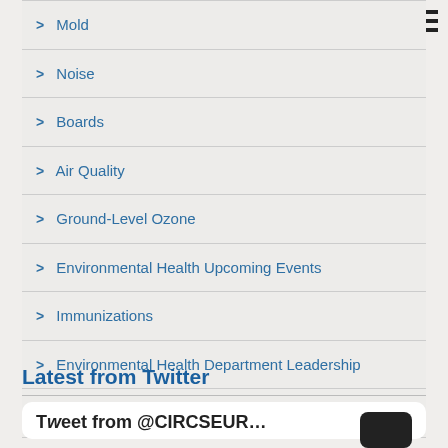Mold
Noise
Boards
Air Quality
Ground-Level Ozone
Environmental Health Upcoming Events
Immunizations
Environmental Health Department Leadership
Excrement Clean Up
Latest from Twitter
[Figure (screenshot): Partial Twitter card with bold truncated text at bottom of page]